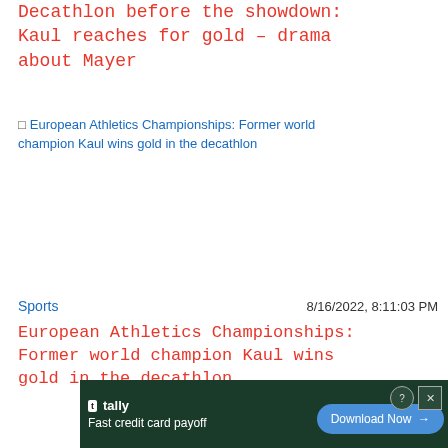Decathlon before the showdown: Kaul reaches for gold – drama about Mayer
[Figure (photo): Broken image placeholder with alt text: European Athletics Championships: Former world champion Kaul wins gold in the decathlon]
Sports
8/16/2022, 8:11:03 PM
European Athletics Championships: Former world champion Kaul wins gold in the decathlon
Close X
[Figure (screenshot): Advertisement banner: tally logo, Fast credit card payoff, Download Now button]